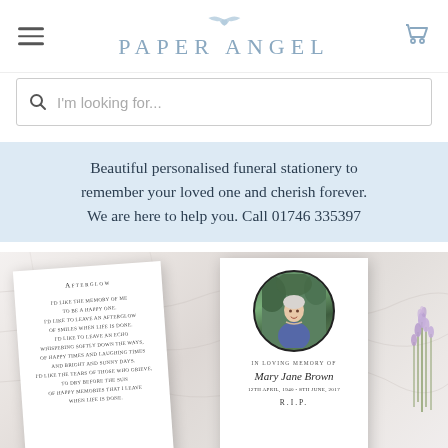[Figure (logo): Paper Angel logo with angel wing icon above the brand name]
I'm looking for...
Beautiful personalised funeral stationery to remember your loved one and cherish forever. We are here to help you. Call 01746 335397
[Figure (photo): Funeral stationery product images on marble background: left card shows Afterglow poem, right card shows memorial card for Mary Jane Brown with circular photo of elderly woman. 12TH APRIL, 1940 - 8TH JUNE, 2017. R.I.P. Lavender flowers on right edge.]